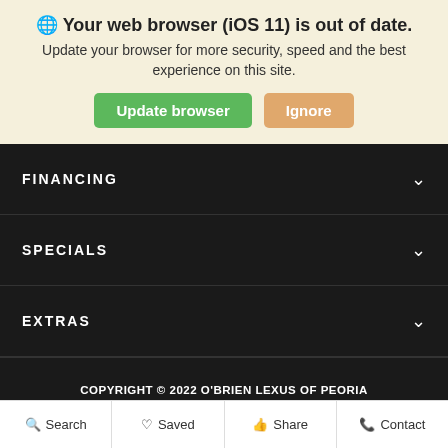🌐 Your web browser (iOS 11) is out of date.
Update your browser for more security, speed and the best experience on this site.
Update browser   Ignore
FINANCING
SPECIALS
EXTRAS
COPYRIGHT © 2022 O'BRIEN LEXUS OF PEORIA
CONTACT US  |  SITEMAP  |  PRIVACY POLICY
ADVANCED AUTOMOTIVE DEALER WEBSITES BY
DEALER INSPIRE
Search   Saved   Share   Contact